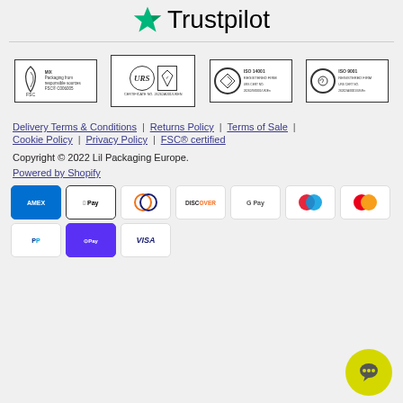[Figure (logo): Trustpilot logo with green star and Trustpilot wordmark]
[Figure (logo): Four certification badges: FSC MIX C006005, URS UKAS Certificate No. 26262A001/UKEN, ISO 14001 Registered Firm URS CERT NO. 26262/B/0001/UK/En, ISO 9001 Registered Firm URS CERT NO. 26262/A/0001/UK/En]
Delivery Terms & Conditions | Returns Policy | Terms of Sale | Cookie Policy | Privacy Policy | FSC® certified
Copyright © 2022 Lil Packaging Europe.
Powered by Shopify
[Figure (logo): Payment icons: American Express, Apple Pay, Diners Club, Discover, Google Pay, Maestro, Mastercard, PayPal, Shop Pay, Visa]